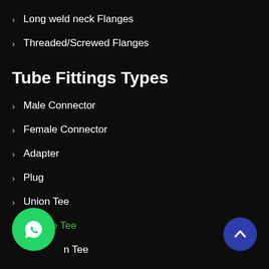Long weld neck Flanges
Threaded/Screwed Flanges
Tube Fittings Types
Male Connector
Female Connector
Adapter
Plug
Union Tee
Female Tee
n Tee
Run Tee